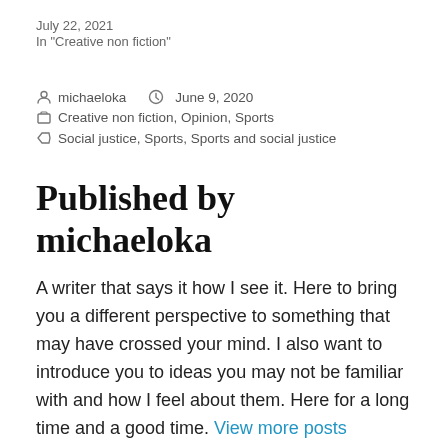July 22, 2021
In "Creative non fiction"
michaeloka   June 9, 2020
Creative non fiction, Opinion, Sports
Social justice, Sports, Sports and social justice
Published by michaeloka
A writer that says it how I see it. Here to bring you a different perspective to something that may have crossed your mind. I also want to introduce you to ideas you may not be familiar with and how I feel about them. Here for a long time and a good time. View more posts